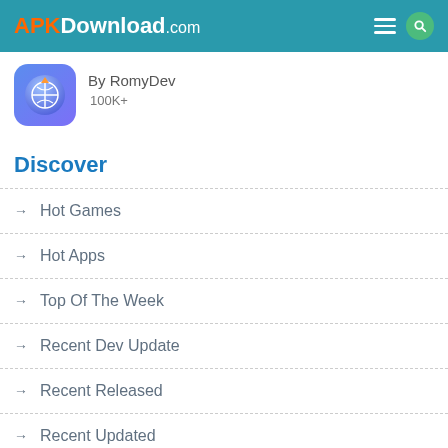APKDownload.com
By RomyDev
100K+
Discover
→ Hot Games
→ Hot Apps
→ Top Of The Week
→ Recent Dev Update
→ Recent Released
→ Recent Updated